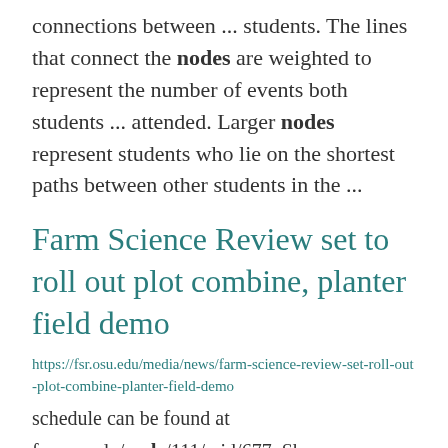connections between ... students. The lines that connect the nodes are weighted to represent the number of events both students ... attended. Larger nodes represent students who lie on the shortest paths between other students in the ...
Farm Science Review set to roll out plot combine, planter field demo
https://fsr.osu.edu/media/news/farm-science-review-set-roll-out-plot-combine-planter-field-demo
schedule can be found at
fsr.osu.edu/node/111/mid/677. Show